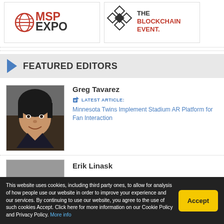[Figure (logo): MSP EXPO logo with globe icon]
[Figure (logo): The Blockchain Event logo with diamond pattern]
FEATURED EDITORS
Greg Tavarez
LATEST ARTICLE:
Minnesota Twins Implement Stadium AR Platform for Fan Interaction
[Figure (photo): Photo of Greg Tavarez, a young man with dark hair smiling]
Erik Linask
This website uses cookies, including third party ones, to allow for analysis of how people use our website in order to improve your experience and our services. By continuing to use our website, you agree to the use of such cookies Accept. Click here for more information on our Cookie Policy and Privacy Policy. More info